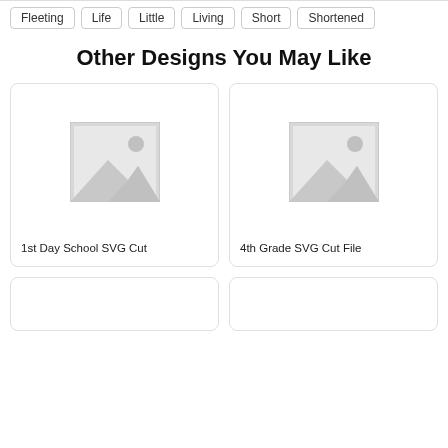Fleeting
Life
Little
Living
Short
Shortened
Other Designs You May Like
[Figure (photo): Placeholder image for 1st Day School SVG Cut product]
1st Day School SVG Cut
[Figure (photo): Placeholder image for 4th Grade SVG Cut File product]
4th Grade SVG Cut File